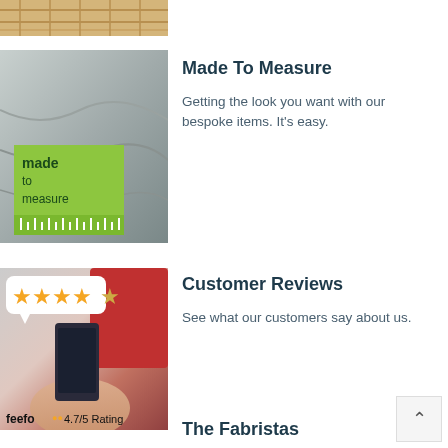[Figure (photo): Cropped top portion of a basket or wicker item, partially visible]
[Figure (photo): Made to measure fabric/blanket image with green 'made to measure' label overlay]
Made To Measure
Getting the look you want with our bespoke items. It's easy.
[Figure (photo): Customer holding phone with 5-star rating speech bubble overlay and Feefo 4.7/5 Rating badge]
Customer Reviews
See what our customers say about us.
The Fabristas